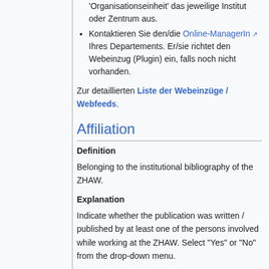Organisationseinheit ‘das jeweilige Institut oder Zentrum aus.
Kontaktieren Sie den/die Online-ManagerIn Ihres Departements. Er/sie richtet den Webeinzug (Plugin) ein, falls noch nicht vorhanden.
Zur detaillierten Liste der Webeinzüge / Webfeeds.
Affiliation
Definition
Belonging to the institutional bibliography of the ZHAW.
Explanation
Indicate whether the publication was written / published by at least one of the persons involved while working at the ZHAW. Select “Yes” or “No” from the drop-down menu.